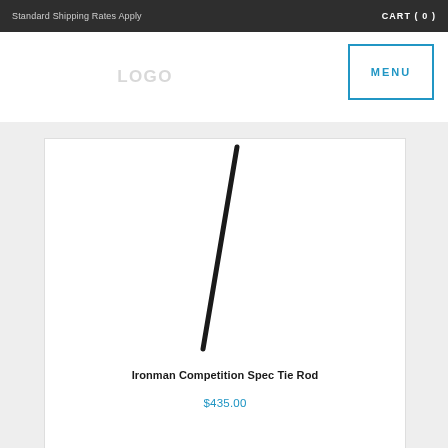Standard Shipping Rates Apply   CART ( 0 )
[Figure (logo): Store logo placeholder (faded text, partially visible)]
MENU
[Figure (photo): A long thin black tie rod product photographed diagonally against white background]
Ironman Competition Spec Tie Rod
$435.00